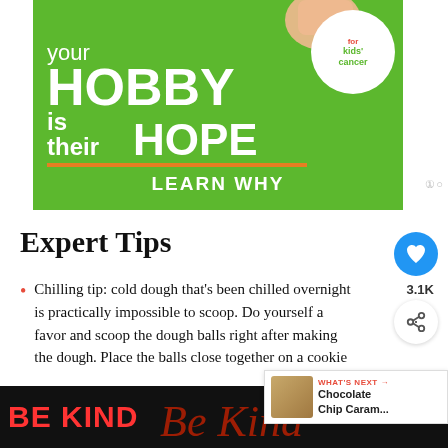[Figure (infographic): Green advertisement banner: 'your HOBBY is their HOPE – LEARN WHY' for kids cancer charity, with a hand holding a coin and a circular white badge.]
Expert Tips
Chilling tip: cold dough that's been chilled overnight is practically impossible to scoop. Do yourself a favor and scoop the dough balls right after making the dough. Place the balls close together on a cookie
[Figure (infographic): WHAT'S NEXT popup with cookie image: 'Chocolate Chip Caram...']
[Figure (infographic): Bottom advertisement bar: 'BE KIND' in red on black background with cursive overlay graphic.]